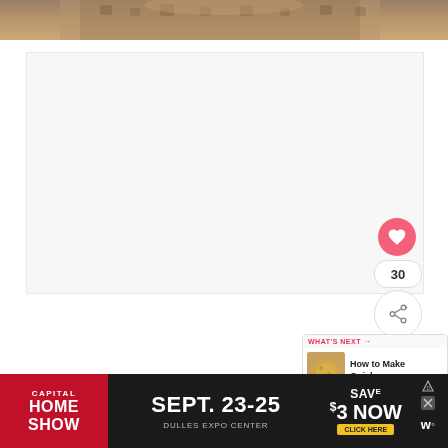[Figure (photo): Top portion of a photo showing a person's midsection wearing a checkered or houndstooth patterned clothing, cropped at the top of the page]
[Figure (screenshot): Video player or content area, mostly white/blank with UI controls showing: a pink heart/like button, a count of 30, and a share button on the right side]
30
[Figure (photo): What's Next panel showing a thumbnail of a quiche or baked dish with text: WHAT'S NEXT → How to Make Quiche...]
[Figure (screenshot): Advertisement banner for Capital Home Show, Sept. 23-25, Dulles Expo Center, Save $3 Now, Click Here]